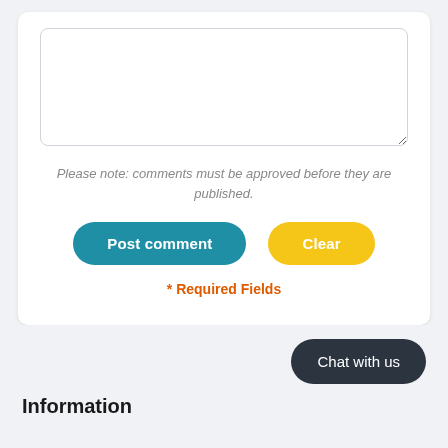Please note: comments must be approved before they are published.
Post comment
Clear
* Required Fields
Chat with us
Information